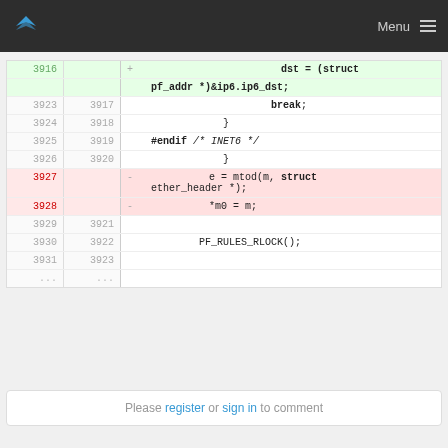Menu
[Figure (screenshot): Code diff view showing C source code lines 3916-3931 with green (added) and red (removed) highlighted rows. Green rows show 'dst = (struct pf_addr *)&ip6.ip6_dst;', red rows show removed lines 'e = mtod(m, struct ether_header *);' and '*m0 = m;'. Other lines include break, closing braces, #endif /* INET6 */, PF_RULES_RLOCK();]
Please register or sign in to comment